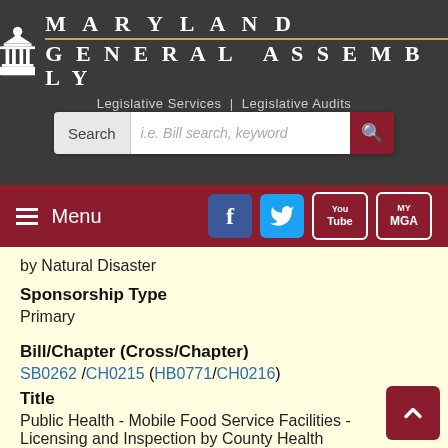[Figure (logo): Maryland General Assembly logo with capitol building icon, 'MARYLAND GENERAL ASSEMBLY' text, and 'Legislative Services | Legislative Audits' subtitle]
[Figure (screenshot): Search bar with label 'Search', placeholder 'i.e. Bill search, keyword', and dark red search button]
[Figure (screenshot): Menu bar with hamburger menu icon and 'Menu' text, Facebook, Twitter, YouTube, and MyMGA social icons]
by Natural Disaster
Sponsorship Type
Primary
Bill/Chapter (Cross/Chapter)
SB0262 /CH0215 (HB0771/CH0216)
Title
Public Health - Mobile Food Service Facilities - Licensing and Inspection by County Health